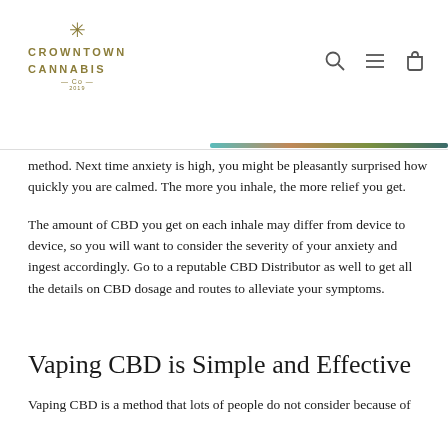CROWNTOWN CANNABIS CO
method. Next time anxiety is high, you might be pleasantly surprised how quickly you are calmed. The more you inhale, the more relief you get.
The amount of CBD you get on each inhale may differ from device to device, so you will want to consider the severity of your anxiety and ingest accordingly. Go to a reputable CBD Distributor as well to get all the details on CBD dosage and routes to alleviate your symptoms.
Vaping CBD is Simple and Effective
Vaping CBD is a method that lots of people do not consider because of